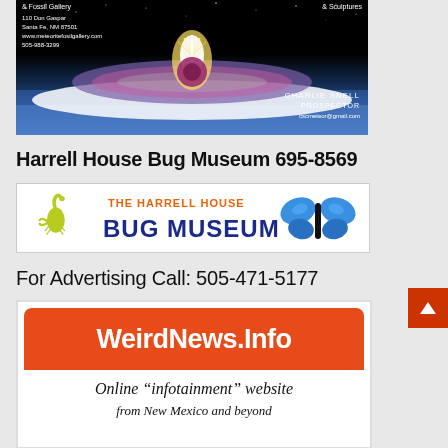[Figure (illustration): Meteor/Fossil Gallery advertisement with meteor impact illustration on dark/blue background. Text: '& Fossil Gallery', '& Sculptures', '110 Don Gaspar', 'Santa Fe, NM 87501', 'www.meteoritefosilgallery.com', '505-988-3299', 'CHARLIE SNELL', 'PROSPECTOR', 'cscmeteor@gmail.com']
Harrell House Bug Museum 695-8569
[Figure (logo): The Harrell House Bug Museum logo with scorpion on left, blue butterfly on right, orange text 'THE HARRELL HOUSE' above bold blue 'BUG MUSEUM']
For Advertising Call: 505-471-5177
[Figure (illustration): WeirdNews.Info advertisement. Orange rounded rectangle banner with white bold text 'WEIRDNEWS.INFO'. Below: italic text 'Online "infotainment" website' and 'from New Mexico and beyond']